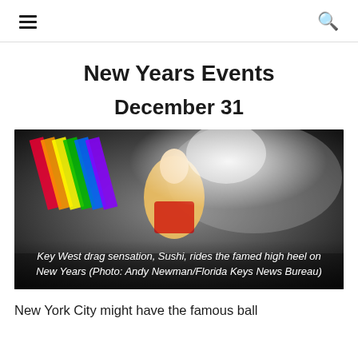≡   🔍
New Years Events
December 31
[Figure (photo): Key West drag sensation Sushi rides the famed high heel on New Years. A performer in colorful costume holds a rainbow flag amid confetti and a large crowd. Photo by Andy Newman/Florida Keys News Bureau.]
Key West drag sensation, Sushi, rides the famed high heel on New Years (Photo: Andy Newman/Florida Keys News Bureau)
New York City might have the famous ball drop, but in the sunny state of...